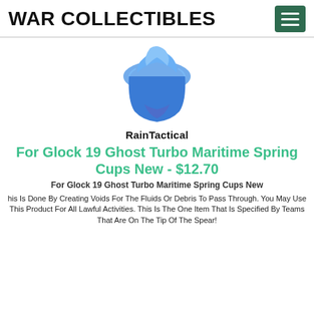WAR COLLECTIBLES
[Figure (photo): Blue Glock maritime spring cup product photo with RainTactical brand label below]
For Glock 19 Ghost Turbo Maritime Spring Cups New - $12.70
For Glock 19 Ghost Turbo Maritime Spring Cups New
his Is Done By Creating Voids For The Fluids Or Debris To Pass Through. You May Use This Product For All Lawful Activities. This Is The One Item That Is Specified By Teams That Are On The Tip Of The Spear!